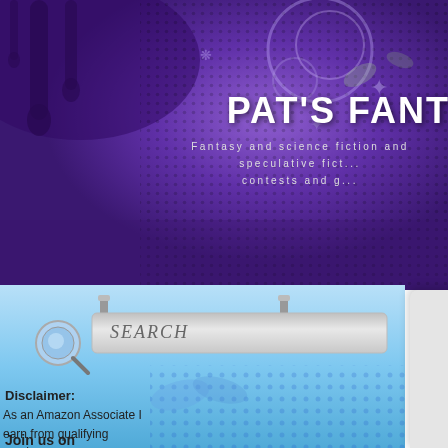[Figure (screenshot): Purple fantasy blog header banner with decorative drip art, halftone dots, floral/star motifs on purple gradient background]
PAT'S FANT
Fantasy and science fiction and speculative fict... contests and g...
[Figure (screenshot): Search box with magnifying glass icon on teal/blue gradient sidebar background with decorative blue dots]
Disclaimer:
As an Amazon Associate I earn from qualifying purchases.
Join us on
More inexpensive ebook g
Publié par Patrick on Saturday, August 31, 2019 / Comments: (0)
[Figure (photo): Book cover with orange/golden background showing quote: "Brilliant, with action and suspense all the way." —TERRY BROOKS]